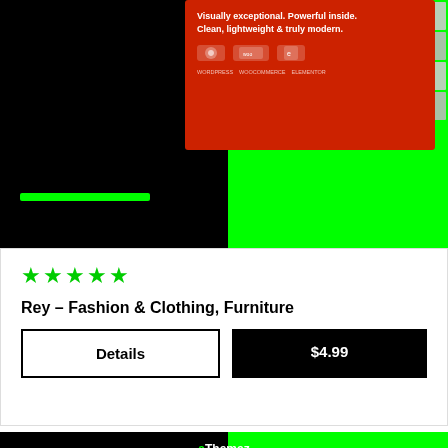[Figure (screenshot): Product card top image: dark background with green section on right, red banner with WordPress/WooCommerce/Elementor logos, green progress bar at bottom]
★★★★★
Rey – Fashion & Clothing, Furniture
Details
$4.99
[Figure (screenshot): aThemez product card: dark background with bright green section, aThemez logo, multiple website/theme screenshots displayed in a grid mosaic]